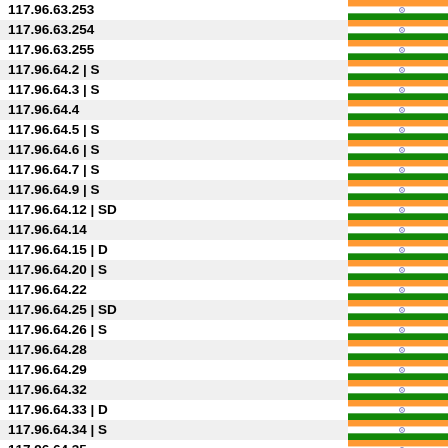| IP Address | Country |
| --- | --- |
| 117.96.63.253 | India |
| 117.96.63.254 | India |
| 117.96.63.255 | India |
| 117.96.64.2 | S | India |
| 117.96.64.3 | S | India |
| 117.96.64.4 | India |
| 117.96.64.5 | S | India |
| 117.96.64.6 | S | India |
| 117.96.64.7 | S | India |
| 117.96.64.9 | S | India |
| 117.96.64.12 | SD | India |
| 117.96.64.14 | India |
| 117.96.64.15 | D | India |
| 117.96.64.20 | S | India |
| 117.96.64.22 | India |
| 117.96.64.25 | SD | India |
| 117.96.64.26 | S | India |
| 117.96.64.28 | India |
| 117.96.64.29 | India |
| 117.96.64.32 | India |
| 117.96.64.33 | D | India |
| 117.96.64.34 | S | India |
| 117.96.64.35 | India |
| 117.96.64.37 | India |